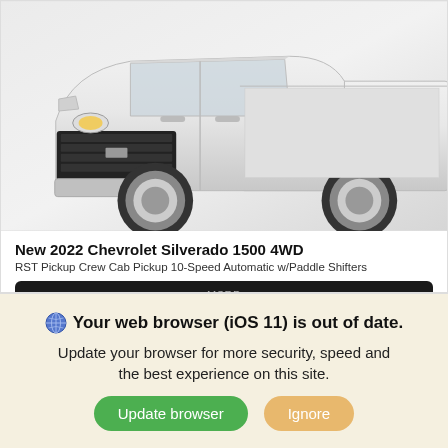[Figure (photo): White 2022 Chevrolet Silverado 1500 4WD truck shown from front-left angle against a light gray background]
New 2022 Chevrolet Silverado 1500 4WD
RST Pickup Crew Cab Pickup 10-Speed Automatic w/Paddle Shifters
MSRP
Contact Us For Pricing
Your web browser (iOS 11) is out of date. Update your browser for more security, speed and the best experience on this site.
Update browser
Ignore